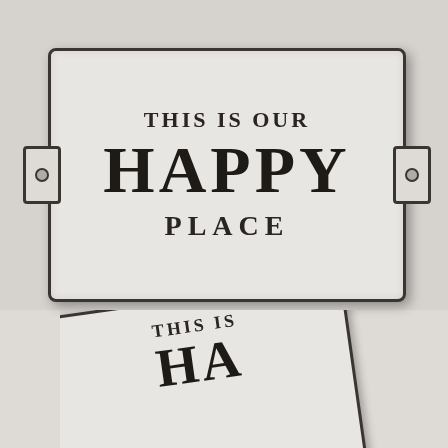[Figure (photo): Two cast iron or enamel wall plaques reading 'THIS IS OUR HAPPY PLACE'. The top plaque is shown fully, mounted on a light gray wall, white/cream colored with dark lettering and mounting tabs on each side with holes. The bottom shows a second plaque angled/tilted, partially cropped, showing 'THIS IS H...' text.]